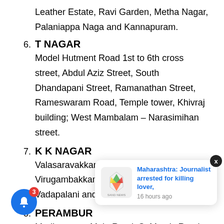Leather Estate, Ravi Garden, Metha Nagar, Palaniappa Naga and Kannapuram.
6. T NAGAR
Model Hutment Road 1st to 6th cross street, Abdul Aziz Street, South Dhandapani Street, Ramanathan Street, Rameswaram Road, Temple tower, Khivraj building; West Mambalam – Narasimihan street.
7. K K NAGAR
Valasaravakkam, Alwarthirunagar, Virugambakkam, K K Nagar, Ashok Nagar, Vadapalani and Alagiri Nagar.
8. PERAMBUR
Madhavaram Main Road, St Mary's Road, NSK Street, Dhanraj Pura..., Nagar, Lakshmipuram, Nagar, Kama..., Garden full area, Paper Mills Road, Venugopal Street,